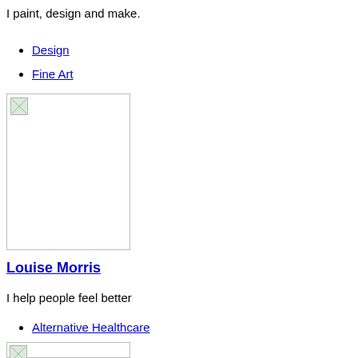I paint, design and make.
Design
Fine Art
[Figure (photo): A broken/missing image placeholder in a bordered box]
Louise Morris
I help people feel better
Alternative Healthcare
[Figure (photo): A broken/missing image placeholder in a bordered box]